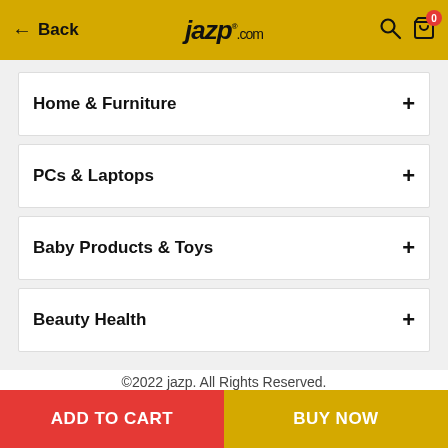Back | jazp.com | Search | Cart (0)
Home & Furniture +
PCs & Laptops +
Baby Products & Toys +
Beauty Health +
©2022 jazp. All Rights Reserved.
Warranty & Return Policy    Terms of Use    Privacy Policy    Coupon code T & C
ADD TO CART | BUY NOW